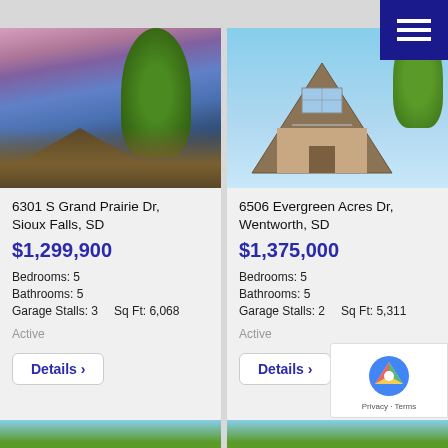[Figure (photo): House exterior at dusk with pink/purple sky and trees, left listing card photo]
6301 S Grand Prairie Dr, Sioux Falls, SD
$1,299,900
Bedrooms: 5
Bathrooms: 5
Garage Stalls: 3    Sq Ft: 6,068
Active
Details >
[Figure (photo): A-frame house exterior with blue sky and trees, right listing card photo]
6506 Evergreen Acres Dr, Wentworth, SD
$1,375,000
Bedrooms: 5
Bathrooms: 5
Garage Stalls: 2    Sq Ft: 5,311
Active
Details >